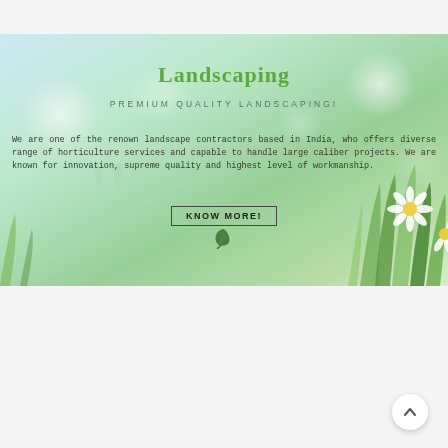[Figure (illustration): Landscaping company banner with green nature background featuring blurred grass, daisies, and bokeh light effects]
Landscaping
PREMIUM QUALITY LANDSCAPING!
We are one of the renown landscape contractors based in India, who offers diverse range of horticulture services and capable to handle large caliber projects. We are known for innovation, supreme quality and highest level of workmanship.
KNOW MORE!